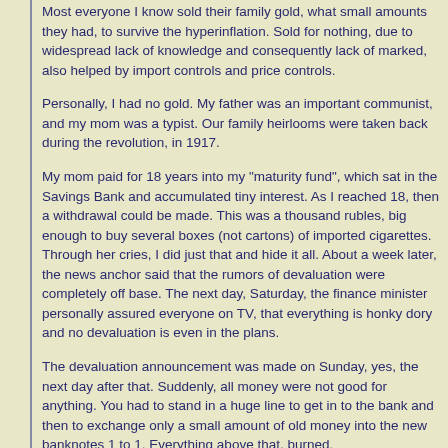Most everyone I know sold their family gold, what small amounts they had, to survive the hyperinflation. Sold for nothing, due to widespread lack of knowledge and consequently lack of marked, also helped by import controls and price controls.
Personally, I had no gold. My father was an important communist, and my mom was a typist. Our family heirlooms were taken back during the revolution, in 1917.
My mom paid for 18 years into my "maturity fund", which sat in the Savings Bank and accumulated tiny interest. As I reached 18, then a withdrawal could be made. This was a thousand rubles, big enough to buy several boxes (not cartons) of imported cigarettes. Through her cries, I did just that and hide it all. About a week later, the news anchor said that the rumors of devaluation were completely off base. The next day, Saturday, the finance minister personally assured everyone on TV, that everything is honky dory and no devaluation is even in the plans.
The devaluation announcement was made on Sunday, yes, the next day after that. Suddenly, all money were not good for anything. You had to stand in a huge line to get in to the bank and then to exchange only a small amount of old money into the new banknotes 1 to 1. Everything above that, burned.